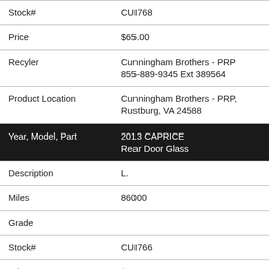| Stock# | CUI768 |
| Price | $65.00 |
| Recyler | Cunningham Brothers - PRP
855-889-9345 Ext 389564 |
| Product Location | Cunningham Brothers - PRP,
Rustburg, VA 24588 |
| Year, Model, Part | 2013 CAPRICE
Rear Door Glass |
| Description | L. |
| Miles | 86000 |
| Grade |  |
| Stock# | CUI766 |
| Price | $65.00 |
| Recyler | Cunningham Brothers - PRP
855-889-9345 Ext 389564 |
| Product Location | Cunningham Brothers - PRP,
Rustburg, VA 24588 |